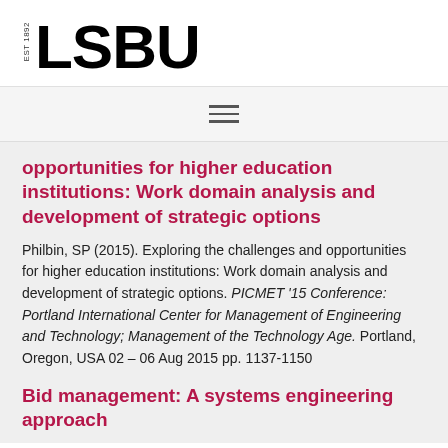EST 1892 LSBU
opportunities for higher education institutions: Work domain analysis and development of strategic options
Philbin, SP (2015). Exploring the challenges and opportunities for higher education institutions: Work domain analysis and development of strategic options. PICMET '15 Conference: Portland International Center for Management of Engineering and Technology; Management of the Technology Age. Portland, Oregon, USA 02 – 06 Aug 2015 pp. 1137-1150
Bid management: A systems engineering approach